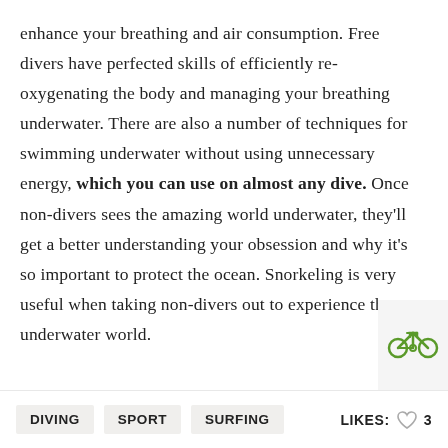enhance your breathing and air consumption. Free divers have perfected skills of efficiently re-oxygenating the body and managing your breathing underwater. There are also a number of techniques for swimming underwater without using unnecessary energy, which you can use on almost any dive. Once non-divers sees the amazing world underwater, they'll get a better understanding your obsession and why it's so important to protect the ocean. Snorkeling is very useful when taking non-divers out to experience the underwater world.
[Figure (illustration): Green bicycle icon and green chef hat icon on a light grey panel on the right side]
DIVING  SPORT  SURFING  LIKES: 3